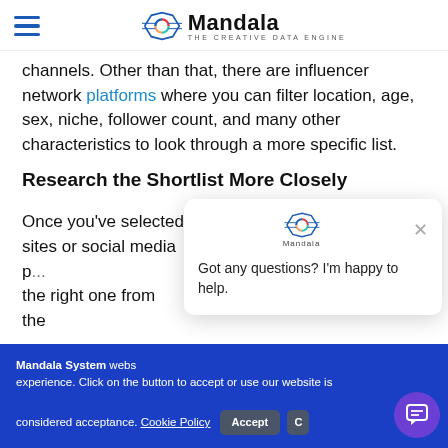Mandala — THE CREATIVE DATA ENGINE
channels. Other than that, there are influencer network platforms where you can filter location, age, sex, niche, follower count, and many other characteristics to look through a more specific list.
Research the Shortlist More Closely
Once you've selected some influencers from network sites or social media p... the right one from the...
[Figure (screenshot): Chat popup with Mandala logo, close button (×), and message: Got any questions? I'm happy to help.]
Mandala System website uses cookies to enhance your experience. Click on the button to accept or use our website is considered acceptance. Cookie Policy  Accept  C